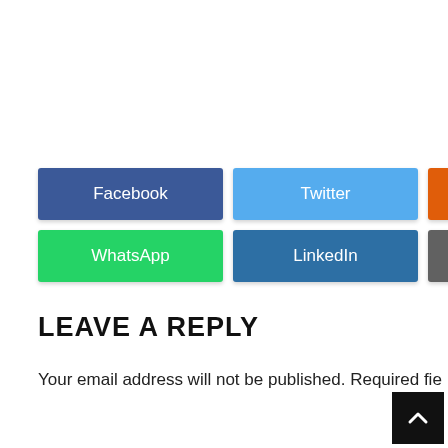[Figure (other): Social media share buttons: Facebook (blue), Twitter (light blue), Reddit (orange), Pin It (dark red), WhatsApp (green), LinkedIn (blue), Buffer (gray)]
LEAVE A REPLY
Your email address will not be published. Required fie...